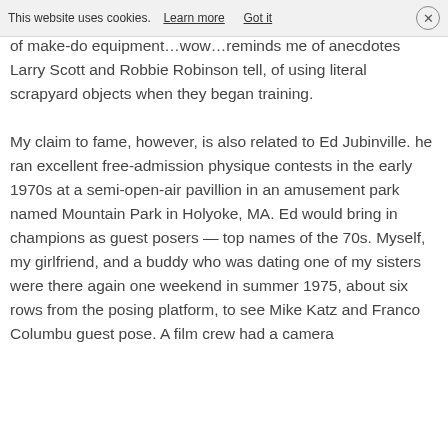This website uses cookies. Learn more   Got it  ×
of make-do equipment…wow…reminds me of anecdotes Larry Scott and Robbie Robinson tell, of using literal scrapyard objects when they began training.
My claim to fame, however, is also related to Ed Jubinville. he ran excellent free-admission physique contests in the early 1970s at a semi-open-air pavillion in an amusement park named Mountain Park in Holyoke, MA. Ed would bring in champions as guest posers — top names of the 70s. Myself, my girlfriend, and a buddy who was dating one of my sisters were there again one weekend in summer 1975, about six rows from the posing platform, to see Mike Katz and Franco Columbu guest pose. A film crew had a camera